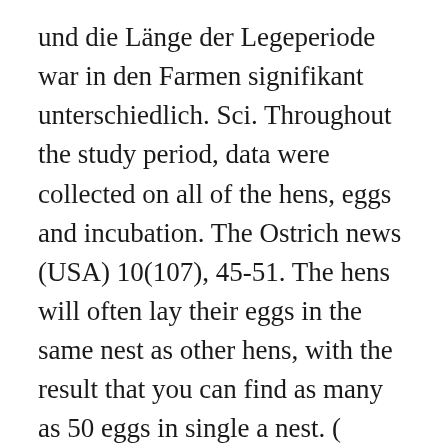und die Länge der Legeperiode war in den Farmen signifikant unterschiedlich. Sci. Throughout the study period, data were collected on all of the hens, eggs and incubation. The Ostrich news (USA) 10(107), 45-51. The hens will often lay their eggs in the same nest as other hens, with the result that you can find as many as 50 eggs in single a nest. ( Cloete and J.A. Ostrich eggs are the largest of all eggs, though they are actually the smallest eggs relative to the size of the adult bird — on average they are 15 cm (5.9 in) long, 13 cm (5.1 in) wide, and weigh 1.4 kilograms (3.1 lb), over 20 times the weight of a chicken's egg and only 1 to 4% the size of the female. Struthio